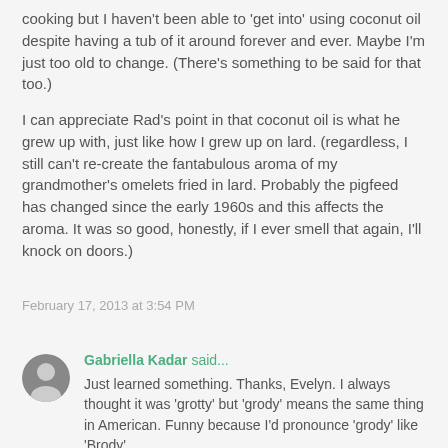cooking but I haven't been able to 'get into' using coconut oil despite having a tub of it around forever and ever. Maybe I'm just too old to change. (There's something to be said for that too.)
I can appreciate Rad's point in that coconut oil is what he grew up with, just like how I grew up on lard. (regardless, I still can't re-create the fantabulous aroma of my grandmother's omelets fried in lard. Probably the pigfeed has changed since the early 1960s and this affects the aroma. It was so good, honestly, if I ever smell that again, I'll knock on doors.)
February 17, 2013 at 3:54 PM
Gabriella Kadar said...
Just learned something. Thanks, Evelyn. I always thought it was 'grotty' but 'grody' means the same thing in American. Funny because I'd pronounce 'grody' like 'Brody'.